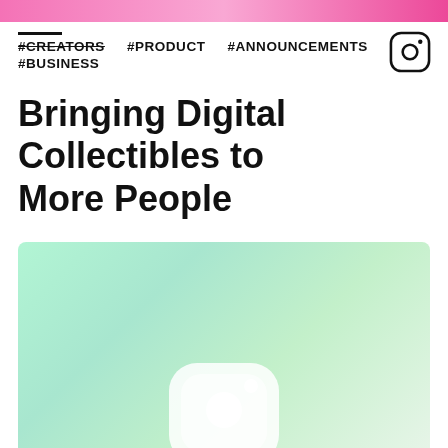[Figure (illustration): Pink gradient decorative bar at top of page]
#CREATORS  #PRODUCT  #ANNOUNCEMENTS  #BUSINESS
Bringing Digital Collectibles to More People
[Figure (illustration): Green to mint gradient background with a white Instagram-style NFT collectibles icon/frame shape at the bottom center]